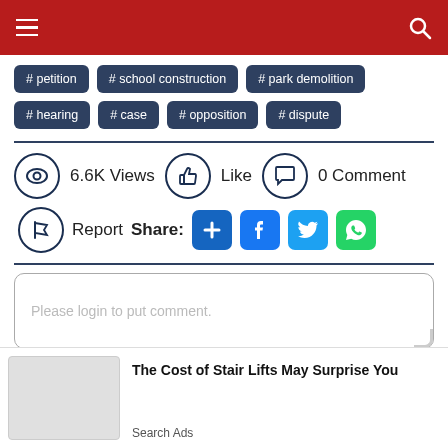Navigation bar with menu and search icons
# petition
# school construction
# park demolition
# hearing
# case
# opposition
# dispute
6.6K Views   Like   0 Comment
Report   Share:
Please login to put comment.
The Cost of Stair Lifts May Surprise You
Search Ads